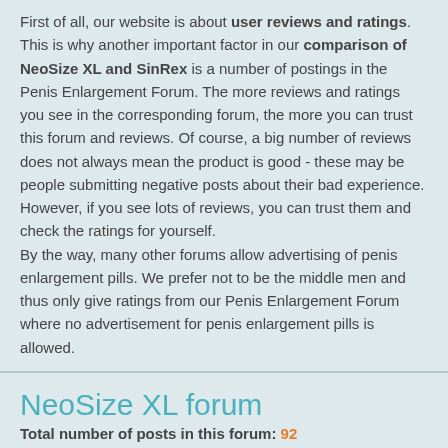First of all, our website is about user reviews and ratings. This is why another important factor in our comparison of NeoSize XL and SinRex is a number of postings in the Penis Enlargement Forum. The more reviews and ratings you see in the corresponding forum, the more you can trust this forum and reviews. Of course, a big number of reviews does not always mean the product is good - these may be people submitting negative posts about their bad experience. However, if you see lots of reviews, you can trust them and check the ratings for yourself.
By the way, many other forums allow advertising of penis enlargement pills. We prefer not to be the middle men and thus only give ratings from our Penis Enlargement Forum where no advertisement for penis enlargement pills is allowed.
NeoSize XL forum
Total number of posts in this forum: 92
Number of postings with ratings: 81